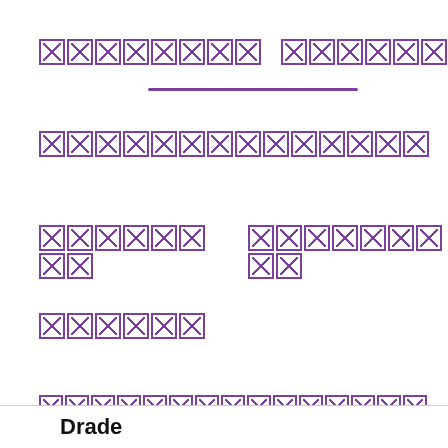[redacted word] [redacted word]
[redacted word]
[redacted word] [redacted word]
[redacted word]
[redacted long phrase]
Brade